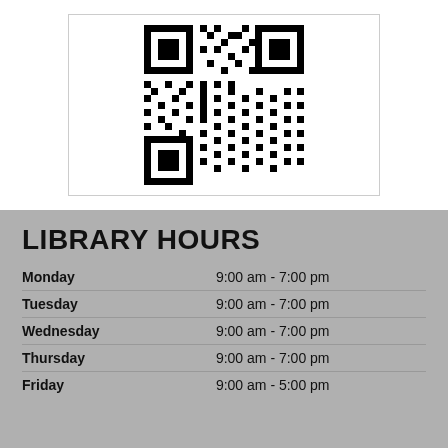[Figure (other): QR code image displayed inside a bordered white box]
LIBRARY HOURS
| Monday | 9:00 am - 7:00 pm |
| Tuesday | 9:00 am - 7:00 pm |
| Wednesday | 9:00 am - 7:00 pm |
| Thursday | 9:00 am - 7:00 pm |
| Friday | 9:00 am - 5:00 pm |